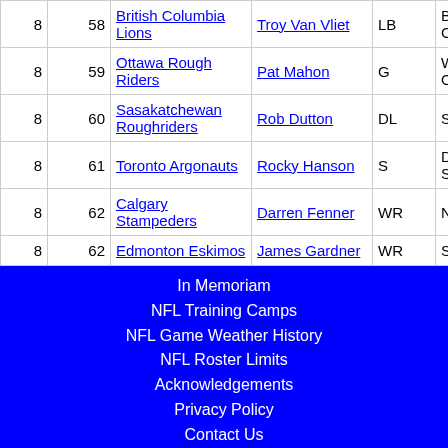|  |  | Team | Player | Pos | School |
| --- | --- | --- | --- | --- | --- |
| 8 | 58 | British Columbia Lions | Troy Van Vliet | LB | Britis Colu... |
| 8 | 59 | Ottawa Rough Riders | Pat Mahon | G | West Onta... |
| 8 | 60 | Sasakatchewan Roughriders | Rob Dutton | DL | Sask... |
| 8 | 61 | Toronto Argonauts | Rocky Hanson | S | Dicki State... |
| 8 | 62 | Calgary Stampeders | Darren Fenner | WR | North... |
| 8 | 62 | Edmonton Eskimos | James Gardner | WR | Simo... |
In Memoriam
NFL Training Camps
NFL Game Weather History
NFL Roster Limits
Acknowledgements
Privacy Policy
Contact Us
©2006-2022 Pro Football Archives. All Rights Reserved.